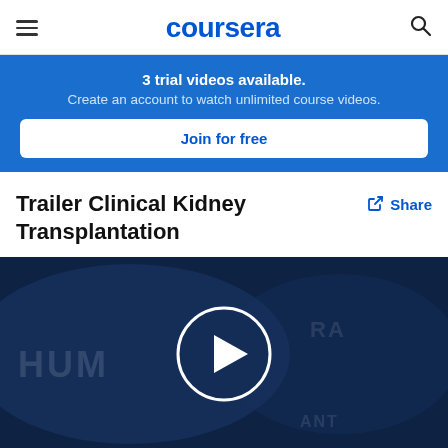coursera
3 trial videos available.
Create an account to watch unlimited course videos.
Join for free
Trailer Clinical Kidney Transplantation
Share
[Figure (screenshot): Video thumbnail with dark blue background showing partial text 'HUM' and a white-bordered play button circle in the center]